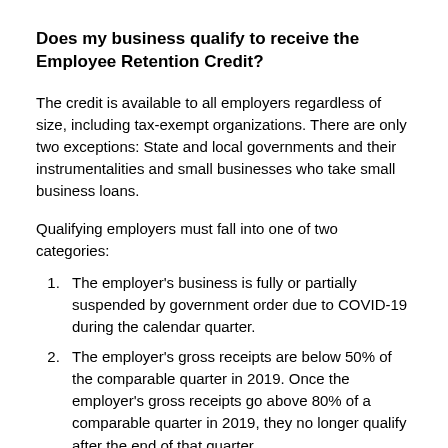Does my business qualify to receive the Employee Retention Credit?
The credit is available to all employers regardless of size, including tax-exempt organizations. There are only two exceptions: State and local governments and their instrumentalities and small businesses who take small business loans.
Qualifying employers must fall into one of two categories:
The employer's business is fully or partially suspended by government order due to COVID-19 during the calendar quarter.
The employer's gross receipts are below 50% of the comparable quarter in 2019. Once the employer's gross receipts go above 80% of a comparable quarter in 2019, they no longer qualify after the end of that quarter.